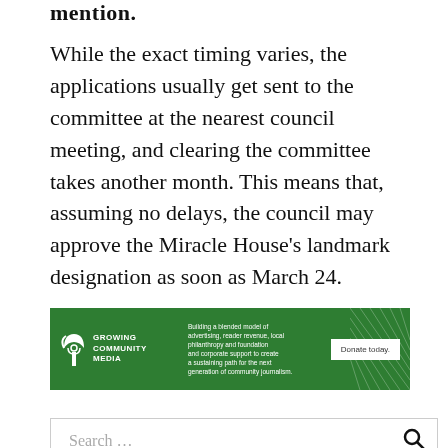While the exact timing varies, the applications usually get sent to the committee at the nearest council meeting, and clearing the committee takes another month. This means that, assuming no delays, the council may approve the Miracle House’s landmark designation as soon as March 24.
[Figure (infographic): Growing Community Media advertisement banner with green background, logo, tagline about building a blended model of advertising, reader revenue, local philanthropy and foundation and corporate support to create a sustaining path for the next generation of community journalism, and a Donate today button.]
Search …